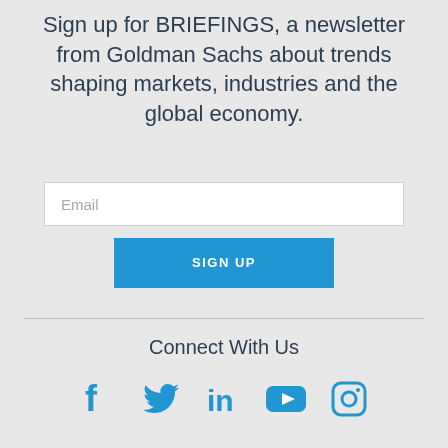Sign up for BRIEFINGS, a newsletter from Goldman Sachs about trends shaping markets, industries and the global economy.
Email
SIGN UP
Connect With Us
[Figure (infographic): Social media icons: Facebook, Twitter, LinkedIn, YouTube, Instagram — all in blue]